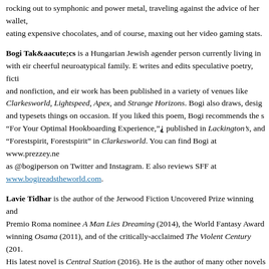rocking out to symphonic and power metal, traveling against the advice of her wallet, eating expensive chocolates, and of course, maxing out her video gaming stats.
Bogi Tak&aacute;cs is a Hungarian Jewish agender person currently living in with eir cheerful neuroatypical family. E writes and edits speculative poetry, fiction and nonfiction, and eir work has been published in a variety of venues like Clarkesworld, Lightspeed, Apex, and Strange Horizons. Bogi also draws, designs and typesets things on occasion. If you liked this poem, Bogi recommends the story “For Your Optimal Hookboarding Experience,”⸘ published in Lackington’s, and “Forestspirit, Forestspirit” in Clarkesworld. You can find Bogi at www.prezzey.ne as @bogiperson on Twitter and Instagram. E also reviews SFF at www.bogireadstheworld.com.
Lavie Tidhar is the author of the Jerwood Fiction Uncovered Prize winning and Premio Roma nominee A Man Lies Dreaming (2014), the World Fantasy Award winning Osama (2011), and of the critically-acclaimed The Violent Century (2013). His latest novel is Central Station (2016). He is the author of many other novels, novellas, and short stories.
Aleksei ValentÍn is a queer, disabled, Jewish Latinx PhD student by day and writer by night. They live on the outskirts of the Battle of Antietam in Maryland with their husband and fellow writer, Lev Mirov, and two spoiled cats. Currently, they’re working on a Religious Studies dissertation and fitting in time for poetry and paranormal romance. Whenever they escape the library, they can be found...